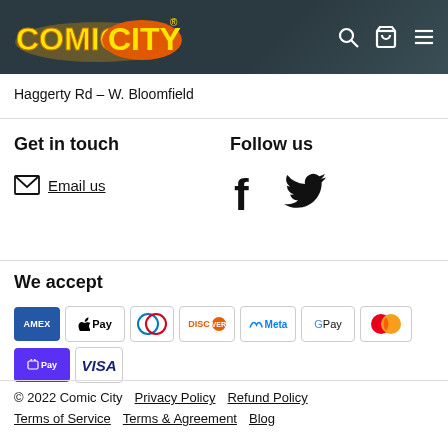Comic City - Haggerty Rd - W. Bloomfield
Haggerty Rd – W. Bloomfield
Get in touch
Email us
Follow us
[Figure (other): Facebook and Twitter social media icons]
We accept
[Figure (other): Payment method icons: Amex, Apple Pay, Diners, Discover, Meta, Google Pay, Mastercard, Shop Pay, Visa]
© 2022 Comic City   Privacy Policy   Refund Policy   Terms of Service   Terms & Agreement   Blog